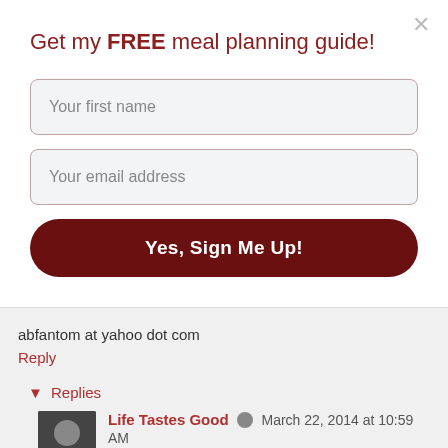Get my FREE meal planning guide!
Your first name
Your email address
Yes, Sign Me Up!
abfantom at yahoo dot com
Reply
Replies
Life Tastes Good  March 22, 2014 at 10:59 AM
me too Ann! although I have to easy on the peppers these day. Good luck!!